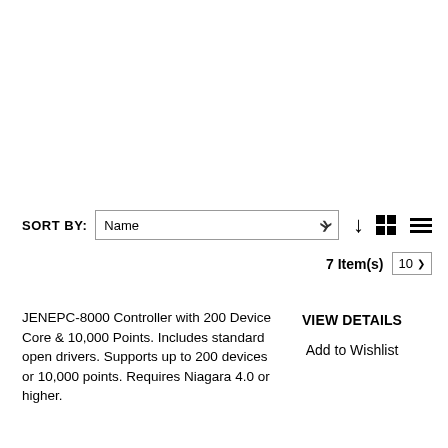SORT BY: Name
7 Item(s) 10
JENEPC-8000 Controller with 200 Device Core & 10,000 Points. Includes standard open drivers. Supports up to 200 devices or 10,000 points. Requires Niagara 4.0 or higher.
VIEW DETAILS
Add to Wishlist